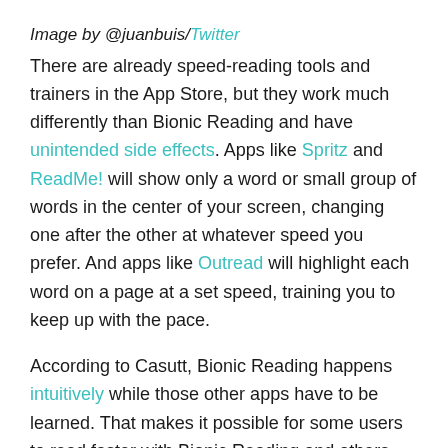Image by @juanbuis/Twitter
There are already speed-reading tools and trainers in the App Store, but they work much differently than Bionic Reading and have unintended side effects. Apps like Spritz and ReadMe! will show only a word or small group of words in the center of your screen, changing one after the other at whatever speed you prefer. And apps like Outread will highlight each word on a page at a set speed, training you to keep up with the pace.
According to Casutt, Bionic Reading happens intuitively while those other apps have to be learned. That makes it possible for some users to read faster with Bionic Reading and others with dyslexia to read better. It can also help avoid the anxiety of textual overload and doesn't suffer the same pitfalls as tools that show you only one or a few words at a time.